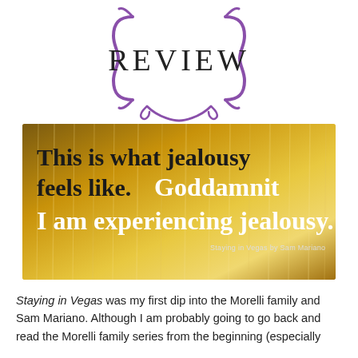Review
[Figure (photo): A golden-toned background image (appears to be a fountain or waterfall with warm lighting) with cursive/handwritten text overlaid reading: 'This is what jealousy feels like. Goddamnit I am experiencing jealousy.' with attribution 'Staying in Vegas by Sam Mariano']
Staying in Vegas was my first dip into the Morelli family and Sam Mariano. Although I am probably going to go back and read the Morelli family series from the beginning (especially